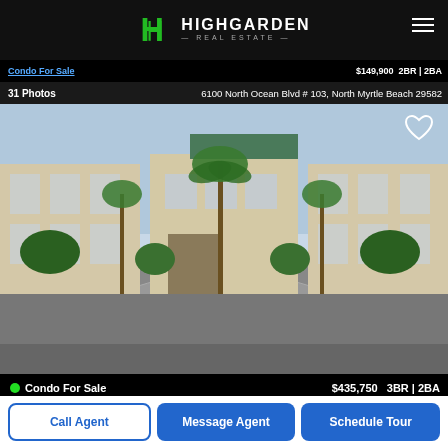[Figure (logo): Highgarden Real Estate logo with green H icon and white text]
Condo For Sale  $149,900  2BR | 2BA
31 Photos    6100 North Ocean Blvd # 103, North Myrtle Beach 29582
[Figure (photo): Exterior photo of condo building with palm trees and circular driveway landscaping]
Condo For Sale  $435,750  3BR | 2BA
40 Photos    2180 Waterview Dr # 823, North Myrtle Beach 29582
[Figure (photo): Partial exterior photo of another condo building]
Call Agent
Message Agent
Schedule Tour